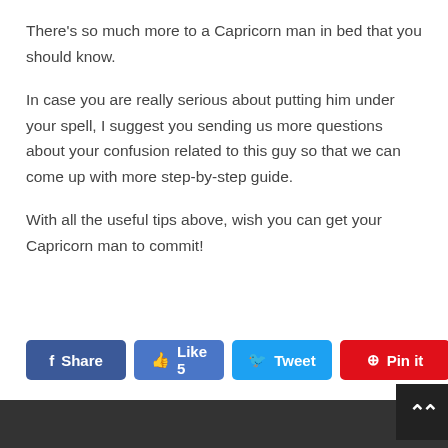There's so much more to a Capricorn man in bed that you should know.
In case you are really serious about putting him under your spell, I suggest you sending us more questions about your confusion related to this guy so that we can come up with more step-by-step guide.
With all the useful tips above, wish you can get your Capricorn man to commit!